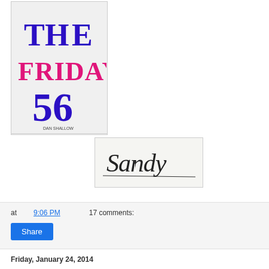[Figure (illustration): The Friday 56 logo — stylized text reading 'THE FRIDAY 56' in blue and pink/magenta distressed letterpress fonts]
[Figure (illustration): Handwritten cursive signature reading 'Sandy' in black ink on a light background]
at 9:06 PM   17 comments:
Share
Friday, January 24, 2014